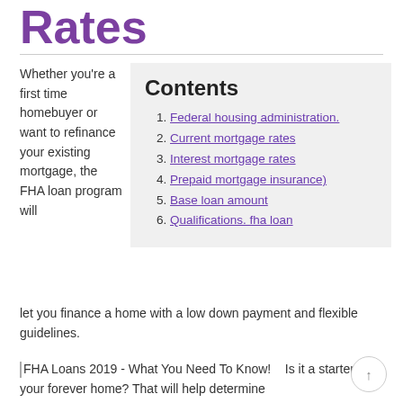Rates
Whether you're a first time homebuyer or want to refinance your existing mortgage, the FHA loan program will let you finance a home with a low down payment and flexible guidelines.
Contents
Federal housing administration.
Current mortgage rates
Interest mortgage rates
Prepaid mortgage insurance)
Base loan amount
Qualifications. fha loan
FHA Loans 2019 - What You Need To Know!   Is it a starter or your forever home? That will help determine